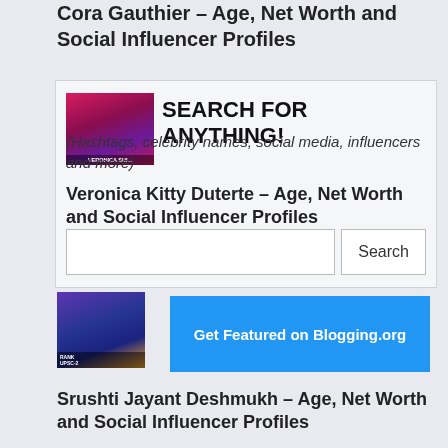Cora Gauthier – Age, Net Worth and Social Influencer Profiles
SEARCH FOR ANYTHING!
(Hashtags, celebrity names, social media, influencers and more)
Veronica Kitty Duterte – Age, Net Worth and Social Influencer Profiles
Srushti Jayant Deshmukh – Age, Net Worth and Social Influencer Profiles
Get Featured on Blogging.org
Katiana Kay – Age, Net Worth and Social Influencer Profiles